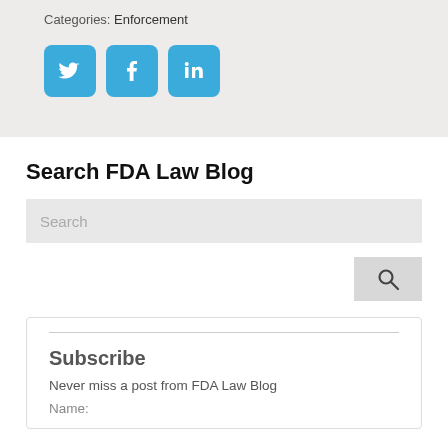Categories: Enforcement
[Figure (illustration): Three social media share buttons: Twitter (bird icon), Facebook (f icon), LinkedIn (in icon), all in blue rounded square style]
Search FDA Law Blog
[Figure (screenshot): Search input field with placeholder text 'Search' and a search button with magnifying glass icon]
Subscribe
Never miss a post from FDA Law Blog
Name: